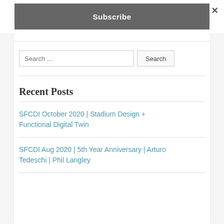×
Subscribe
Search …
Search
Recent Posts
SFCDI October 2020 | Stadium Design + Functional Digital Twin
SFCDI Aug 2020 | 5th Year Anniversary | Arturo Tedeschi | Phil Langley